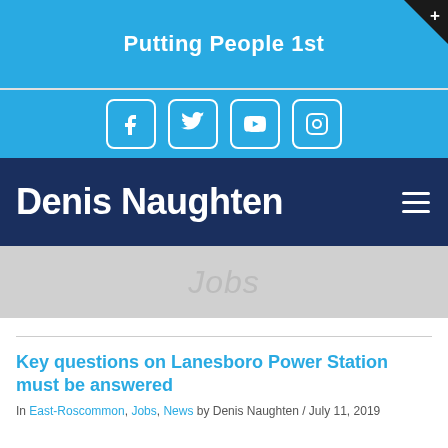Putting People 1st
[Figure (screenshot): Social media icons: Facebook, Twitter, YouTube, Instagram in white icon boxes on blue background]
Denis Naughten
Jobs
Key questions on Lanesboro Power Station must be answered
In East-Roscommon, Jobs, News by Denis Naughten / July 11, 2019